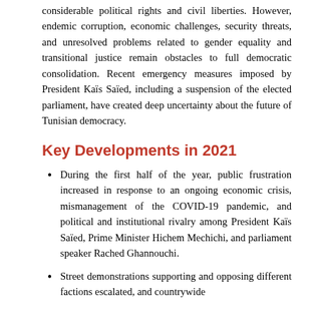considerable political rights and civil liberties. However, endemic corruption, economic challenges, security threats, and unresolved problems related to gender equality and transitional justice remain obstacles to full democratic consolidation. Recent emergency measures imposed by President Kaïs Saïed, including a suspension of the elected parliament, have created deep uncertainty about the future of Tunisian democracy.
Key Developments in 2021
During the first half of the year, public frustration increased in response to an ongoing economic crisis, mismanagement of the COVID-19 pandemic, and political and institutional rivalry among President Kaïs Saïed, Prime Minister Hichem Mechichi, and parliament speaker Rached Ghannouchi.
Street demonstrations supporting and opposing different factions escalated, and countrywide